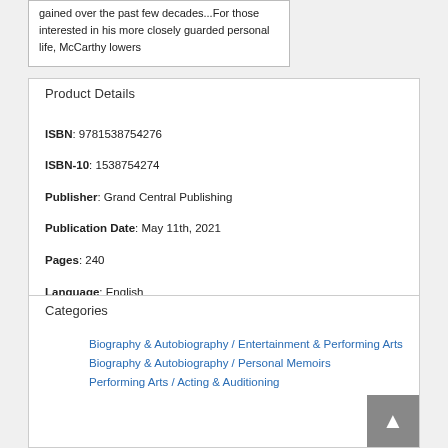gained over the past few decades...For those interested in his more closely guarded personal life, McCarthy lowers
Product Details
ISBN: 9781538754276
ISBN-10: 1538754274
Publisher: Grand Central Publishing
Publication Date: May 11th, 2021
Pages: 240
Language: English
Categories
Biography & Autobiography / Entertainment & Performing Arts
Biography & Autobiography / Personal Memoirs
Performing Arts / Acting & Auditioning